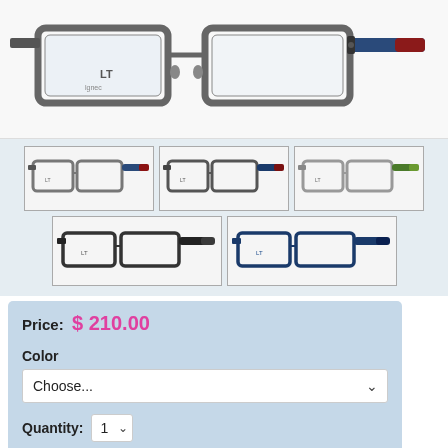[Figure (photo): Main product image of eyeglasses with gray metal frame and blue/red temples, brand logo visible on lens]
[Figure (photo): Thumbnail 1: eyeglasses with gray/navy/red color scheme]
[Figure (photo): Thumbnail 2: eyeglasses with gray/navy/red color scheme, slightly different angle]
[Figure (photo): Thumbnail 3: eyeglasses with silver/green color scheme]
[Figure (photo): Thumbnail 4: eyeglasses with black frame]
[Figure (photo): Thumbnail 5: eyeglasses with dark blue frame]
Price:  $ 210.00
Color
Choose...
Quantity:  1
Add to Cart